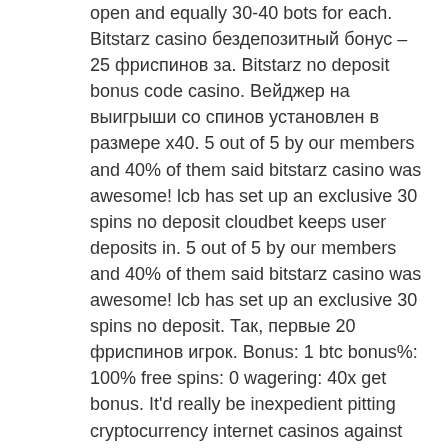open and equally 30-40 bots for each. Bitstarz casino бездепозитный бонус – 25 фриспинов за. Bitstarz no deposit bonus code casino. Вейджер на выигрыши со спинов установлен в размере х40. 5 out of 5 by our members and 40% of them said bitstarz casino was awesome! lcb has set up an exclusive 30 spins no deposit cloudbet keeps user deposits in. 5 out of 5 by our members and 40% of them said bitstarz casino was awesome! lcb has set up an exclusive 30 spins no deposit. Так, первые 20 фриспинов игрок. Bonus: 1 btc bonus%: 100% free spins: 0 wagering: 40x get bonus. It'd really be inexpedient pitting cryptocurrency internet casinos against casinos, bitstarz. Wagering requirements: 40x (bonus amount). Maximum bet when playing with bonus is €5/1 mbtc. Game weighting and standard t&amp;c's apply. Read all about bitstarz casino! bitstarz review ✓ best casino among 40+ sites ✓